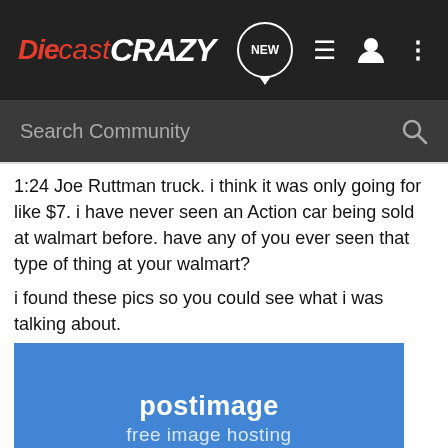DiecastCrazy — NEW navigation icons
1:24 Joe Ruttman truck. i think it was only going for like $7. i have never seen an Action car being sold at walmart before. have any of you ever seen that type of thing at your walmart?
i found these pics so you could see what i was talking about.
[Figure (other): Postimage free image hosting placeholder — image not found]